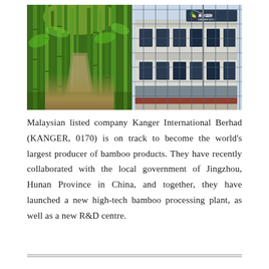[Figure (photo): Two side-by-side photos: left shows a bamboo forest path with lush green bamboo stalks; right shows the Kanger Int'l company building exterior with a logo sign reading '康尔国际 KANGER INT'L' on a modern white/grey multi-storey building.]
Malaysian listed company Kanger International Berhad (KANGER, 0170) is on track to become the world's largest producer of bamboo products. They have recently collaborated with the local government of Jingzhou, Hunan Province in China, and together, they have launched a new high-tech bamboo processing plant, as well as a new R&D centre.